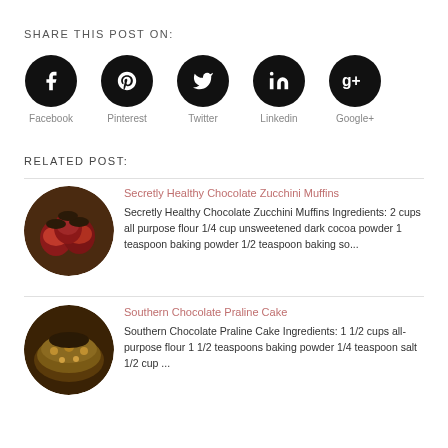SHARE THIS POST ON:
[Figure (infographic): Social media share icons: Facebook, Pinterest, Twitter, LinkedIn, Google+ — each as a black circle with white icon and label below]
RELATED POST:
[Figure (photo): Circular thumbnail of chocolate zucchini muffins in red liners]
Secretly Healthy Chocolate Zucchini Muffins
Secretly Healthy Chocolate Zucchini Muffins Ingredients: 2 cups all purpose flour 1/4 cup unsweetened dark cocoa powder 1 teaspoon baking powder 1/2 teaspoon baking so...
[Figure (photo): Circular thumbnail of Southern Chocolate Praline Cake]
Southern Chocolate Praline Cake
Southern Chocolate Praline Cake Ingredients: 1 1/2 cups all-purpose flour 1 1/2 teaspoons baking powder 1/4 teaspoon salt 1/2 cup ...